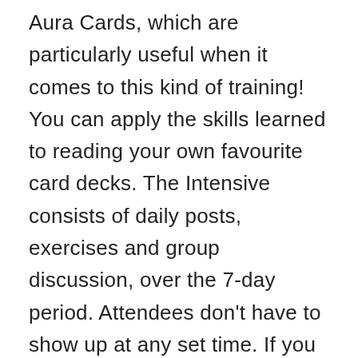Aura Cards, which are particularly useful when it comes to this kind of training! You can apply the skills learned to reading your own favourite card decks. The Intensive consists of daily posts, exercises and group discussion, over the 7-day period. Attendees don't have to show up at any set time. If you are concerned you can't commit the time needed to work through the material in the space of 1 week, you also have the option of joining the group for a full month, so you can work through it at your own pace, while also enjoying three weeks of daily Aura Card posts and weekly 1hr Live Readings. Alternatively, you can sign up as a member and